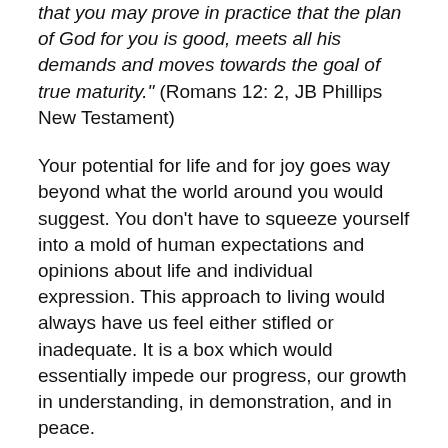that you may prove in practice that the plan of God for you is good, meets all his demands and moves towards the goal of true maturity." (Romans 12: 2, JB Phillips New Testament)
Your potential for life and for joy goes way beyond what the world around you would suggest. You don’t have to squeeze yourself into a mold of human expectations and opinions about life and individual expression. This approach to living would always have us feel either stifled or inadequate. It is a box which would essentially impede our progress, our growth in understanding, in demonstration, and in peace.
Instead of agreeing to the world’s patterns and trying to emulate them, be free! Give yourself permission to give up and now the uncomfortable agreement to live out life in a